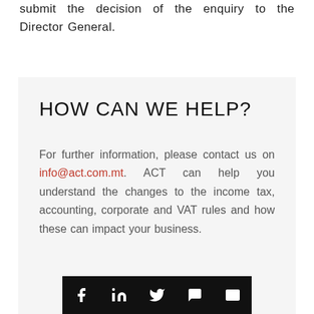submit the decision of the enquiry to the Director General.
HOW CAN WE HELP?
For further information, please contact us on info@act.com.mt. ACT can help you understand the changes to the income tax, accounting, corporate and VAT rules and how these can impact your business.